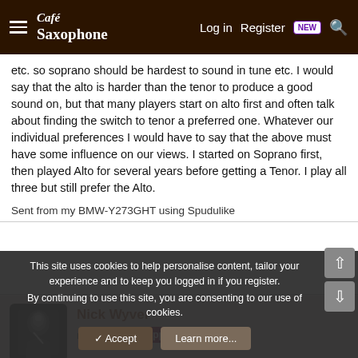Café Saxophone — Log in  Register  NEW
etc. so soprano should be hardest to sound in tune etc. I would say that the alto is harder than the tenor to produce a good sound on, but that many players start on alto first and often talk about finding the switch to tenor a preferred one. Whatever our individual preferences I would have to say that the above must have some influence on our views. I started on Soprano first, then played Alto for several years before getting a Tenor. I play all three but still prefer the Alto.
Sent from my BMW-Y273GHT using Spudulike
[Figure (photo): Avatar photo of Nick Wyver playing saxophone, black and white]
Nick Wyver
noisy  Café Supporter
This site uses cookies to help personalise content, tailor your experience and to keep you logged in if you register.
By continuing to use this site, you are consenting to our use of cookies.